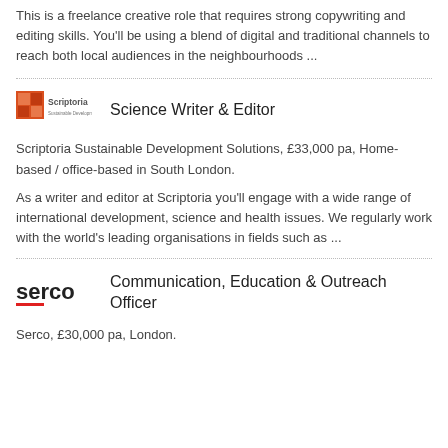This is a freelance creative role that requires strong copywriting and editing skills. You'll be using a blend of digital and traditional channels to reach both local audiences in the neighbourhoods ...
[Figure (logo): Scriptoria logo — orange/red square with 'Scriptoria' text]
Science Writer & Editor
Scriptoria Sustainable Development Solutions, £33,000 pa, Home-based / office-based in South London.
As a writer and editor at Scriptoria you'll engage with a wide range of international development, science and health issues. We regularly work with the world's leading organisations in fields such as ...
[Figure (logo): Serco logo — lowercase 'serco' text with red underline accent]
Communication, Education & Outreach Officer
Serco, £30,000 pa, London.